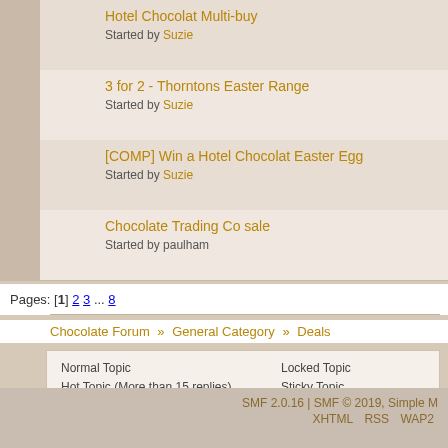Hotel Chocolat Multi-buy — Started by Suzie
3 for 2 - Thorntons Easter Range — Started by Suzie
[COMP] Win a Hotel Chocolat Easter Egg — Started by Suzie
Chocolate Trading Co sale — Started by paulham
Pages: [1] 2 3 ... 8
Chocolate Forum » General Category » Deals
Normal Topic   Locked Topic
Hot Topic (More than 15 replies)   Sticky Topic
Very Hot Topic (More than 25 replies)   Poll
SMF 2.0.16 | SMF © 2019, Simple M   XHTML   RSS   WAP2